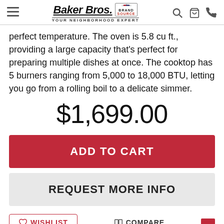Baker Bros. Brand Source — Your Neighborhood Expert
perfect temperature. The oven is 5.8 cu ft., providing a large capacity that's perfect for preparing multiple dishes at once. The cooktop has 5 burners ranging from 5,000 to 18,000 BTU, letting you go from a rolling boil to a delicate simmer.
$1,699.00
ADD TO CART
REQUEST MORE INFO
WISHLIST
COMPARE